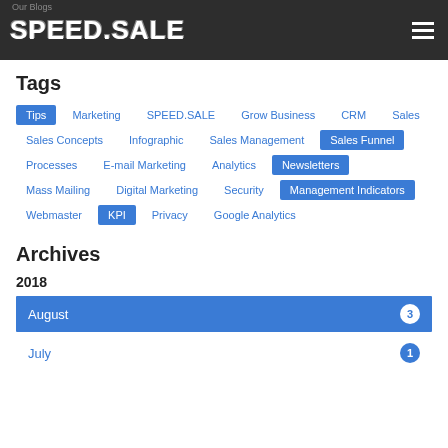Our Blogs — SPEED.SALE
Tags
Tips, Marketing, SPEED.SALE, Grow Business, CRM, Sales, Sales Concepts, Infographic, Sales Management, Sales Funnel, Processes, E-mail Marketing, Analytics, Newsletters, Mass Mailing, Digital Marketing, Security, Management Indicators, Webmaster, KPI, Privacy, Google Analytics
Archives
2018
August 3
July 1